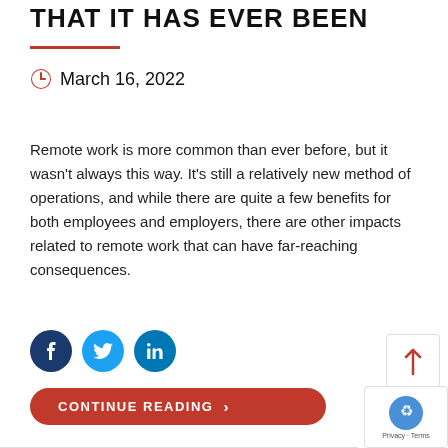THAT IT HAS EVER BEEN
March 16, 2022
Remote work is more common than ever before, but it wasn't always this way. It's still a relatively new method of operations, and while there are quite a few benefits for both employees and employers, there are other impacts related to remote work that can have far-reaching consequences.
[Figure (other): Social share icons: Facebook, Twitter, LinkedIn]
CONTINUE READING >